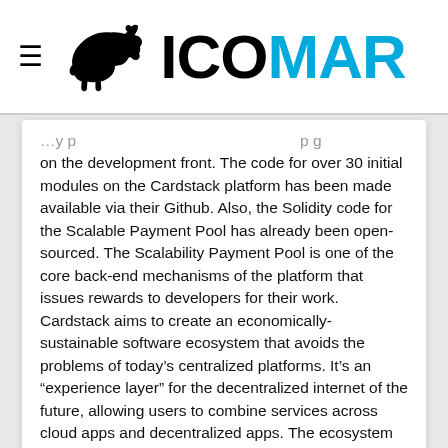≡ ICOMAP
on the development front. The code for over 30 initial modules on the Cardstack platform has been made available via their Github. Also, the Solidity code for the Scalable Payment Pool has already been open-sourced. The Scalability Payment Pool is one of the core back-end mechanisms of the platform that issues rewards to developers for their work. Cardstack aims to create an economically-sustainable software ecosystem that avoids the problems of today's centralized platforms. It's an "experience layer" for the decentralized internet of the future, allowing users to combine services across cloud apps and decentralized apps. The ecosystem revolves around the use of Cardstack tokens, or CARD.